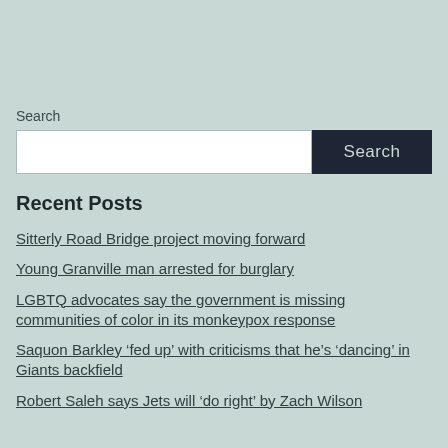Search
Search [input field and button]
Recent Posts
Sitterly Road Bridge project moving forward
Young Granville man arrested for burglary
LGBTQ advocates say the government is missing communities of color in its monkeypox response
Saquon Barkley 'fed up' with criticisms that he's 'dancing' in Giants backfield
Robert Saleh says Jets will 'do right' by Zach Wilson